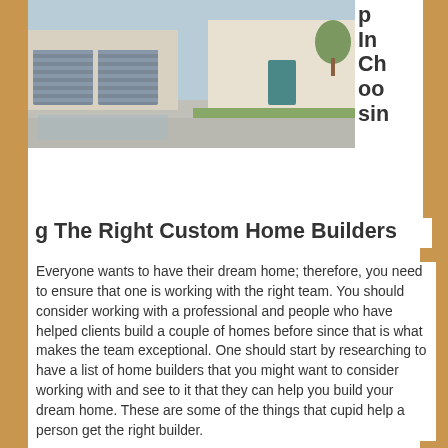[Figure (photo): Exterior photo of modern houses with two-car garage doors and landscaping]
Tips In Choosing The Right Custom Home Builders
Everyone wants to have their dream home; therefore, you need to ensure that one is working with the right team. You should consider working with a professional and people who have helped clients build a couple of homes before since that is what makes the team exceptional. One should start by researching to have a list of home builders that you might want to consider working with and see to it that they can help you build your dream home. These are some of the things that cupid help a person get the right builder.
Know The Type Of A Home One Wants
You need to decide on what home one wants to get so that it is easy to have your home customized. Getting a couple of options and designs means that it will be easy to explain to the team what is required. Ensure that one is sure of the designs and the features heeded so that the custom home builder is in a position of offering the services to you at all times.